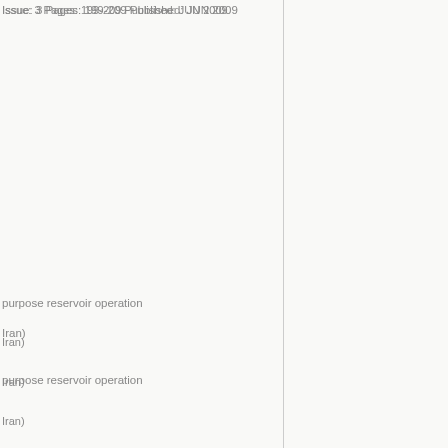Issue: 3 Pages: 199-209 Published: JUN 2009
Iran)
purpose reservoir operation